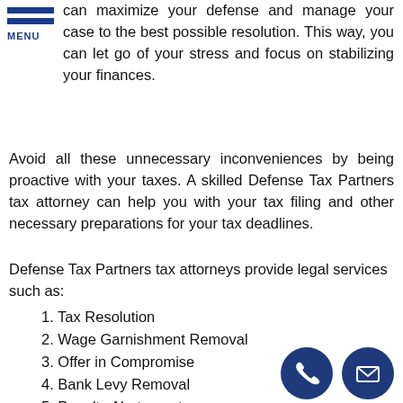MENU
can maximize your defense and manage your case to the best possible resolution. This way, you can let go of your stress and focus on stabilizing your finances.
Avoid all these unnecessary inconveniences by being proactive with your taxes. A skilled Defense Tax Partners tax attorney can help you with your tax filing and other necessary preparations for your tax deadlines.
Defense Tax Partners tax attorneys provide legal services such as:
1. Tax Resolution
2. Wage Garnishment Removal
3. Offer in Compromise
4. Bank Levy Removal
5. Penalty Abatement
6. Innocent Spouse
7. Audit Representation
8. Tax Preparation
9. Tax Lien Removal